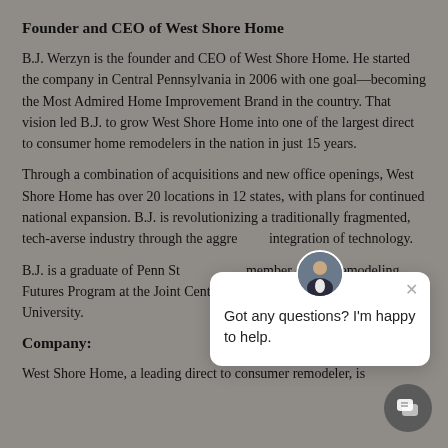Founder and CEO of West Shore Home
B.J. Werzyn is the founder and CEO of West Shore Home. He started the company in Central Pennsylvania in 2006 with one goal—becoming the Most Admired Home Improvement Brand in the country. That vision led B.J. to grow West Shore Home into one of the largest direct to consumer home remodelers in the nation in just 15 years.
Through a combination of acquisitions and new office openings, West Shore Home has over 20 locations in 12 states, with plans for continued national expansion. B.J. is revolutionizing a traditionally fragmented, tech-averse industry through the aggressive integration of technology.
B.J. is a graduate of Penn St... member of the Remodeling Futures Program at the Joint Center for Housing Studies of Harvard University.
Company:
West Shore Home, a leading direct to consumer remodeler, is
[Figure (other): Chat widget overlay with avatar photo of a man in a suit, close button (×), and message text 'Got any questions? I'm happy to help.']